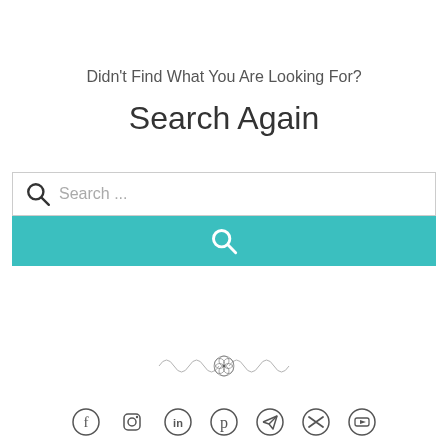Didn't Find What You Are Looking For?
Search Again
[Figure (screenshot): Search input box with magnifying glass icon and placeholder text 'Search ...' followed by a teal search button with a magnifying glass icon]
[Figure (logo): Decorative logo with wave pattern and central geometric flower of life mandala symbol]
[Figure (infographic): Row of social media icons: Facebook, Instagram, LinkedIn, Pinterest, Telegram, Twitter/X, YouTube]